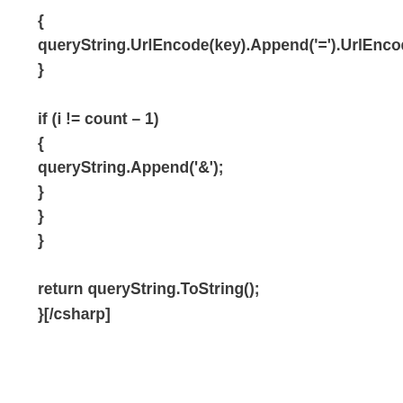{
queryString.UrlEncode(key).Append('=').UrlEncode(
}

if (i != count – 1)
{
queryString.Append('&');
}
}
}

return queryString.ToString();
}[/csharp]